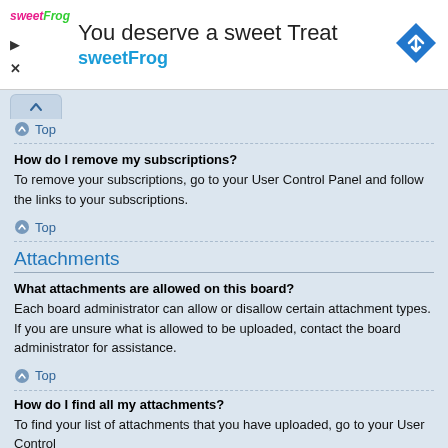[Figure (screenshot): SweetFrog advertisement banner with logo, headline 'You deserve a sweet Treat', subheadline 'sweetFrog', and a blue diamond navigation icon on the right.]
Top
How do I remove my subscriptions?
To remove your subscriptions, go to your User Control Panel and follow the links to your subscriptions.
Top
Attachments
What attachments are allowed on this board?
Each board administrator can allow or disallow certain attachment types. If you are unsure what is allowed to be uploaded, contact the board administrator for assistance.
Top
How do I find all my attachments?
To find your list of attachments that you have uploaded, go to your User Control